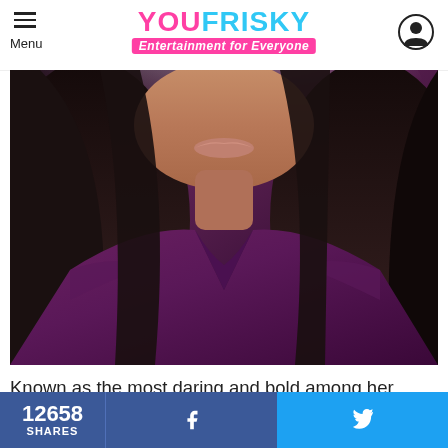YOU FRISKY - Entertainment for Everyone
[Figure (photo): Close-up photo of a woman with long dark hair wearing a purple satin off-shoulder top, chin and neck visible, light background]
Known as the most daring and bold among her sisters, Khloe Kardashian is not afraid to show off her
12658 SHARES  f  (Twitter bird icon)